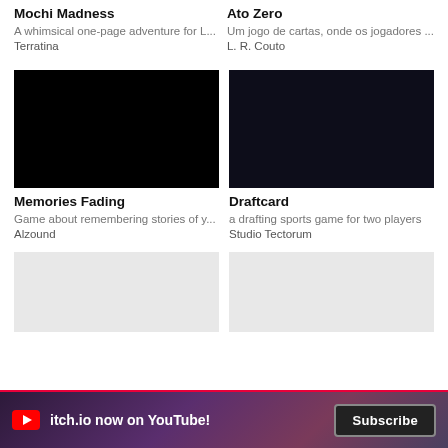Mochi Madness
A whimsical one-page adventure for L...
Terratina
Ato Zero
Um jogo de cartas, onde os jogadores ...
L. R. Couto
[Figure (photo): Black thumbnail image for Memories Fading game]
Memories Fading
Game about remembering stories of y...
Alzound
[Figure (photo): Dark navy thumbnail image for Draftcard game]
Draftcard
a drafting sports game for two players
Studio Tectorum
[Figure (photo): Light gray partial thumbnail (bottom left)]
[Figure (photo): Light gray partial thumbnail (bottom right)]
itch.io now on YouTube!
Subscribe